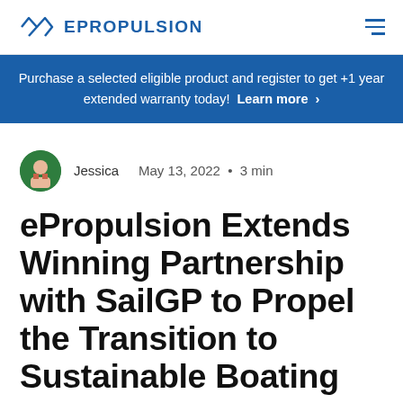ePropulsion
Purchase a selected eligible product and register to get +1 year extended warranty today! Learn more >
Jessica   May 13, 2022 • 3 min
ePropulsion Extends Winning Partnership with SailGP to Propel the Transition to Sustainable Boating